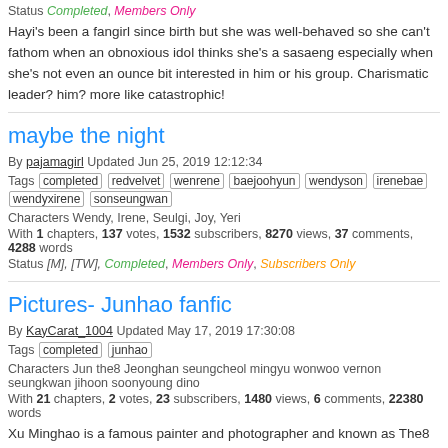Status Completed, Members Only
Hayi's been a fangirl since birth but she was well-behaved so she can't fathom when an obnoxious idol thinks she's a sasaeng especially when she's not even an ounce bit interested in him or his group. Charismatic leader? him? more like catastrophic!
maybe the night
By pajamagirl Updated Jun 25, 2019 12:12:34
Tags completed redvelvet wenrene baejoohyun wendyson irenebae wendyxirene sonseungwan
Characters Wendy, Irene, Seulgi, Joy, Yeri
With 1 chapters, 137 votes, 1532 subscribers, 8270 views, 37 comments, 4288 words
Status [M], [TW], Completed, Members Only, Subscribers Only
Pictures- Junhao fanfic
By KayCarat_1004 Updated May 17, 2019 17:30:08
Tags completed junhao
Characters Jun the8 Jeonghan seungcheol mingyu wonwoo vernon seungkwan jihoon soonyoung dino
With 21 chapters, 2 votes, 23 subscribers, 1480 views, 6 comments, 22380 words
Xu Minghao is a famous painter and photographer and known as The8 by the